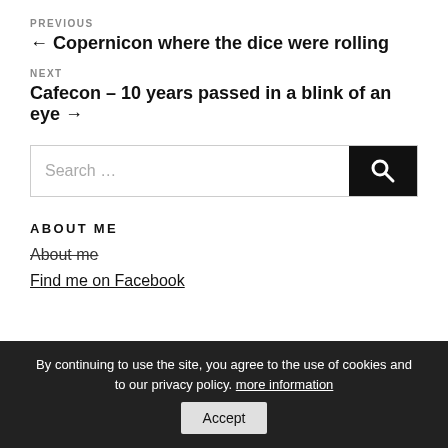PREVIOUS
← Copernicon where the dice were rolling
NEXT
Cafecon – 10 years passed in a blink of an eye →
Search …
ABOUT ME
About me
By continuing to use the site, you agree to the use of cookies and to our privacy policy. more information
Accept
Find me on Facebook